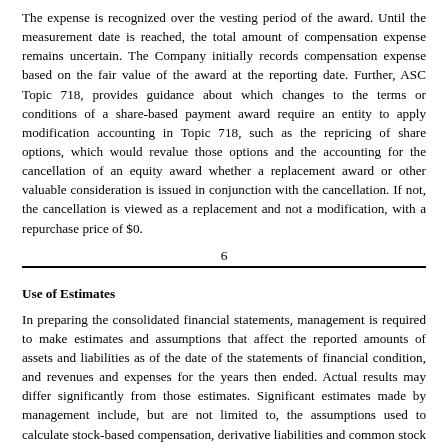The expense is recognized over the vesting period of the award. Until the measurement date is reached, the total amount of compensation expense remains uncertain. The Company initially records compensation expense based on the fair value of the award at the reporting date. Further, ASC Topic 718, provides guidance about which changes to the terms or conditions of a share-based payment award require an entity to apply modification accounting in Topic 718, such as the repricing of share options, which would revalue those options and the accounting for the cancellation of an equity award whether a replacement award or other valuable consideration is issued in conjunction with the cancellation. If not, the cancellation is viewed as a replacement and not a modification, with a repurchase price of $0.
6
Use of Estimates
In preparing the consolidated financial statements, management is required to make estimates and assumptions that affect the reported amounts of assets and liabilities as of the date of the statements of financial condition, and revenues and expenses for the years then ended. Actual results may differ significantly from those estimates. Significant estimates made by management include, but are not limited to, the assumptions used to calculate stock-based compensation, derivative liabilities and common stock issued for services.
Effect of Exchange Rate on Results